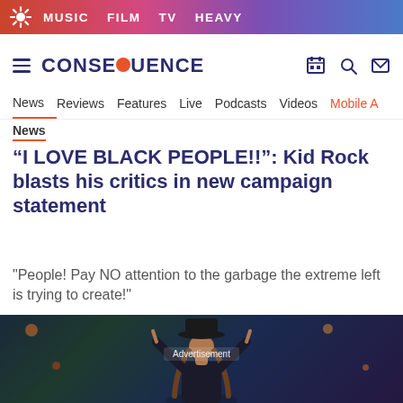MUSIC  FILM  TV  HEAVY
CONSEQUENCE
News  Reviews  Features  Live  Podcasts  Videos  Mobile A
News
“I LOVE BLACK PEOPLE!!”: Kid Rock blasts his critics in new campaign statement
"People! Pay NO attention to the garbage the extreme left is trying to create!"
[Figure (photo): Person wearing a black wide-brim hat with long hair, making rock hand gestures, in front of a dark blue/green stage background with bokeh lights. Text 'Advertisement' overlaid.]